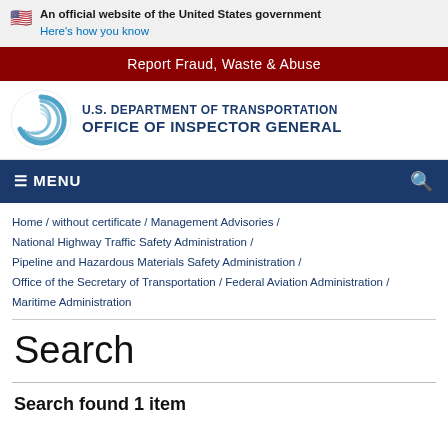An official website of the United States government
Here's how you know
Report Fraud, Waste & Abuse
[Figure (logo): U.S. Department of Transportation Office of Inspector General logo with circular swirl graphic]
≡ MENU
Home / without certificate / Management Advisories / National Highway Traffic Safety Administration / Pipeline and Hazardous Materials Safety Administration / Office of the Secretary of Transportation / Federal Aviation Administration / Maritime Administration
Search
Search found 1 item